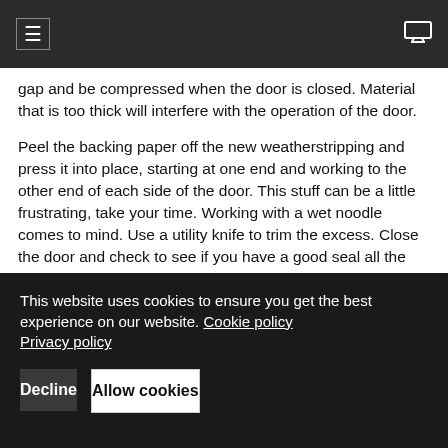≡  [monitor icon]
gap and be compressed when the door is closed. Material that is too thick will interfere with the operation of the door.
Peel the backing paper off the new weatherstripping and press it into place, starting at one end and working to the other end of each side of the door. This stuff can be a little frustrating, take your time. Working with a wet noodle comes to mind. Use a utility knife to trim the excess. Close the door and check to see if you have a good seal all the way around the door. Everything looks good? Then you have mastered all the skills needed for dealing with weatherstripping for doors issues.
This website uses cookies to ensure you get the best experience on our website. Cookie policy Privacy policy
Decline
Allow cookies